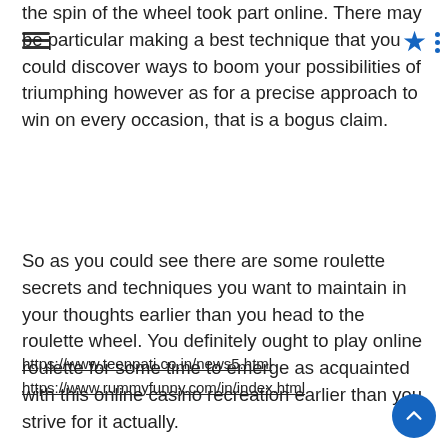the spin of the wheel took part online. There may be particular making a best technique that you could discover ways to boom your possibilities of triumphing however as for a precise approach to win on every occasion, that is a bogus claim.
So as you could see there are some roulette secrets and techniques you want to maintain in your thoughts earlier than you head to the roulette wheel. You definitely ought to play online roulette for some time to emerge as acquainted with this online casino recreation earlier than you strive for it actually.
https://www.teenpati.co.in/news5.html
https://www.rummyfunny.com/in/index.html